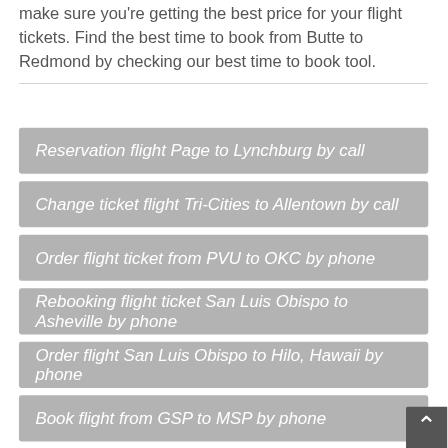make sure you're getting the best price for your flight tickets. Find the best time to book from Butte to Redmond by checking our best time to book tool.
Reservation flight Page to Lynchburg by call
Change ticket flight Tri-Cities to Allentown by call
Order flight ticket from PVU to OKC by phone
Rebooking flight ticket San Luis Obispo to Asheville by phone
Order flight San Luis Obispo to Hilo, Hawaii by phone
Book flight from GSP to MSP by phone